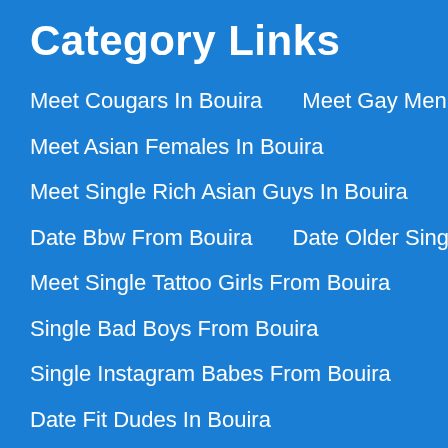Category Links
Meet Cougars In Bouira    Meet Gay Men From Bouira
Meet Asian Females In Bouira
Meet Single Rich Asian Guys In Bouira
Date Bbw From Bouira    Date Older Singles In Bouira
Meet Single Tattoo Girls From Bouira
Single Bad Boys From Bouira
Single Instagram Babes From Bouira
Date Fit Dudes In Bouira
Single Ebony Babes From Bouira